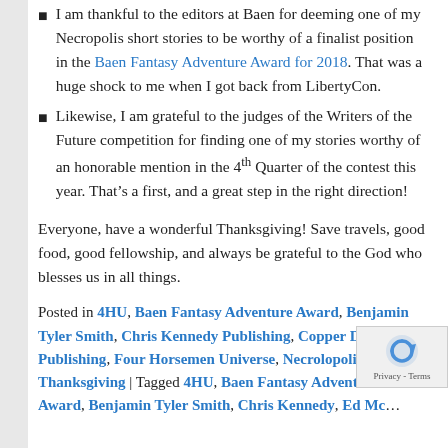I am thankful to the editors at Baen for deeming one of my Necropolis short stories to be worthy of a finalist position in the Baen Fantasy Adventure Award for 2018. That was a huge shock to me when I got back from LibertyCon.
Likewise, I am grateful to the judges of the Writers of the Future competition for finding one of my stories worthy of an honorable mention in the 4th Quarter of the contest this year. That’s a first, and a great step in the right direction!
Everyone, have a wonderful Thanksgiving! Save travels, good food, good fellowship, and always be grateful to the God who blesses us in all things.
Posted in 4HU, Baen Fantasy Adventure Award, Benjamin Tyler Smith, Chris Kennedy Publishing, Copper Dog Publishing, Four Horsemen Universe, Necrolopolis, Sha'Daa, Thanksgiving | Tagged 4HU, Baen Fantasy Adventure Award, Benjamin Tyler Smith, Chris Kennedy, Ed McKeonan, Four Horsemen Universe, Mark Wandrey